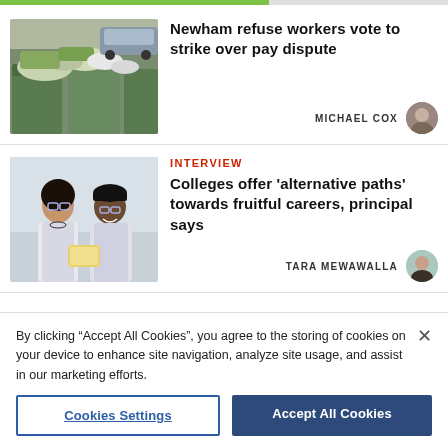[Figure (illustration): Green/grey progress bar at the top of the page]
[Figure (photo): Photo of overflowing green wheelie bins and refuse bags on a street]
Newham refuse workers vote to strike over pay dispute
MICHAEL COX
[Figure (photo): Photo of two people in lab coats and safety glasses looking at something]
INTERVIEW
Colleges offer 'alternative paths' towards fruitful careers, principal says
TARA MEWAWALLA
By clicking “Accept All Cookies”, you agree to the storing of cookies on your device to enhance site navigation, analyze site usage, and assist in our marketing efforts.
Cookies Settings
Accept All Cookies